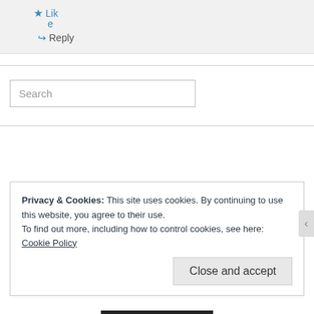★ Like
↪ Reply
Search
Privacy & Cookies: This site uses cookies. By continuing to use this website, you agree to their use. To find out more, including how to control cookies, see here: Cookie Policy
Close and accept